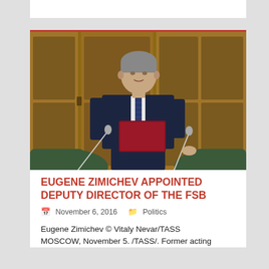[Figure (photo): A man in a dark suit carrying a red folder, standing between green upholstered chairs in front of wooden panel doors. The person is Eugene Zimichev.]
EUGENE ZIMICHEV APPOINTED DEPUTY DIRECTOR OF THE FSB
November 6, 2016   Politics
Eugene Zimichev © Vitaly Nevar/TASS
MOSCOW, November 5. /TASS/. Former acting